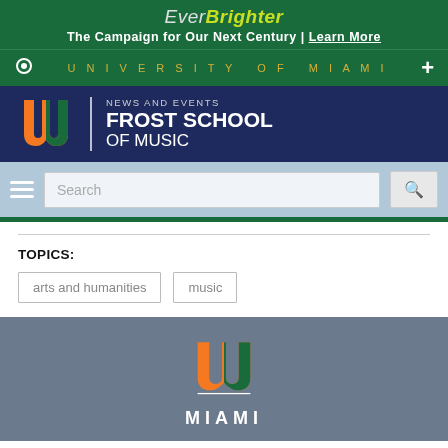Ever Brighter — The Campaign for Our Next Century | Learn More
UNIVERSITY OF MIAMI
[Figure (logo): Frost School of Music News and Events logo with UM hurricane logo]
[Figure (screenshot): Search bar with hamburger menu and magnifying glass icon]
TOPICS:
arts and humanities
music
[Figure (logo): University of Miami UM hurricane logo with MIAMI text below]